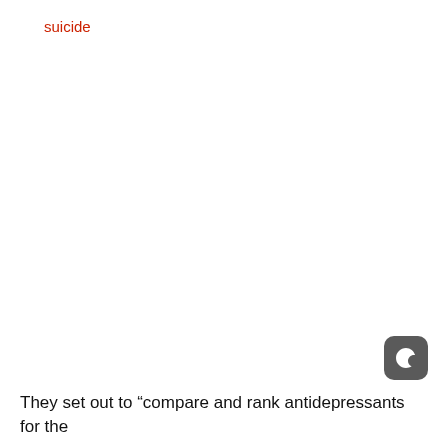suicide
[Figure (other): Dark mode / night mode UI icon button (crescent moon symbol on dark rounded square background)]
They set out to “compare and rank antidepressants for the